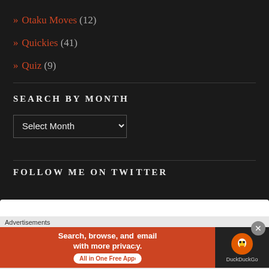» Otaku Moves (12)
» Quickies (41)
» Quiz (9)
SEARCH BY MONTH
Select Month (dropdown)
FOLLOW ME ON TWITTER
[Figure (screenshot): DuckDuckGo advertisement banner: orange left side with text 'Search, browse, and email with more privacy. All in One Free App' and dark right side with DuckDuckGo logo]